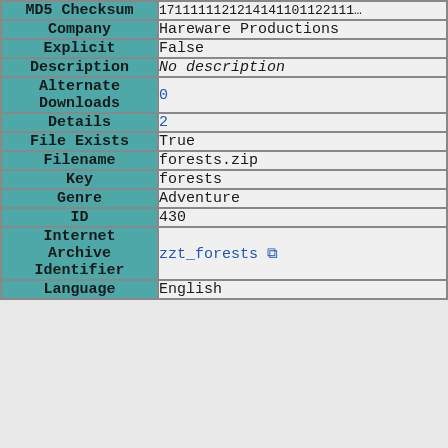| Field | Value |
| --- | --- |
| MD5 Checksum | (truncated hash) |
| Company | Hareware Productions |
| Explicit | False |
| Description | No description |
| Alternate Downloads | 0 |
| Details | 2 |
| File Exists | True |
| Filename | forests.zip |
| Key | forests |
| Genre | Adventure |
| ID | 430 |
| Internet Archive Identifier | zzt_forests |
| Language | English |